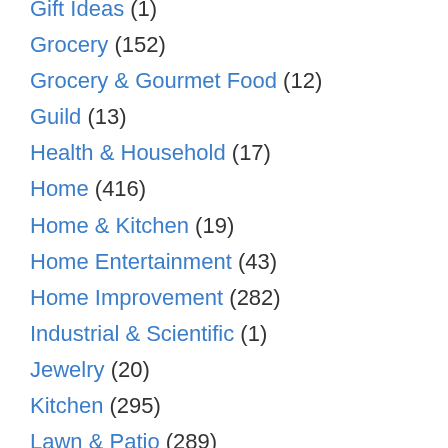Gift Ideas (1)
Grocery (152)
Grocery & Gourmet Food (12)
Guild (13)
Health & Household (17)
Home (416)
Home & Kitchen (19)
Home Entertainment (43)
Home Improvement (282)
Industrial & Scientific (1)
Jewelry (20)
Kitchen (295)
Lawn & Patio (289)
Luggage (38)